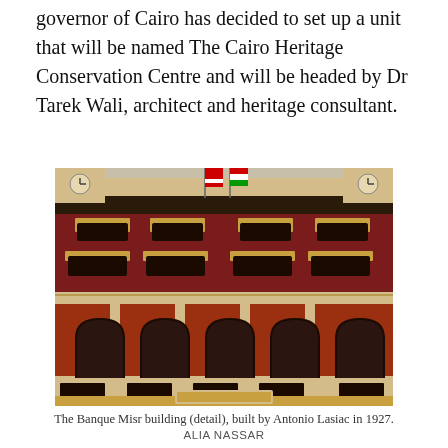governor of Cairo has decided to set up a unit that will be named The Cairo Heritage Conservation Centre and will be headed by Dr Tarek Wali, architect and heritage consultant.
[Figure (photo): Facade of the Banque Misr building showing ornate Islamic-influenced architecture with arched windows, red brick upper floors, decorative balconies, colonnaded ground floor, and clock towers at top corners. Flags visible at the top. Photograph taken from a low angle looking up.]
The Banque Misr building (detail), built by Antonio Lasiac in 1927.
ALIA NASSAR